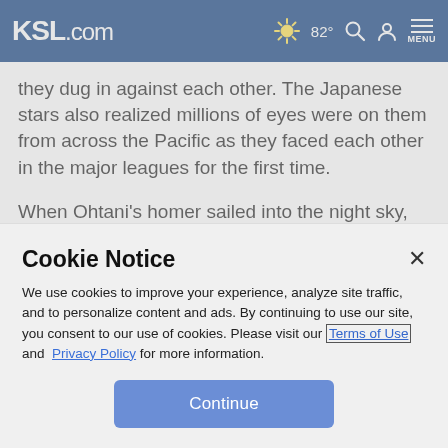KSL.com | 82° | Search | Account | Menu
they dug in against each other. The Japanese stars also realized millions of eyes were on them from across the Pacific as they faced each other in the major leagues for the first time.
When Ohtani's homer sailed into the night sky, the Angels slugger left no doubt who won the first stateside matchup in what's likely to be a long, friendly rivalry between two
Cookie Notice
We use cookies to improve your experience, analyze site traffic, and to personalize content and ads. By continuing to use our site, you consent to our use of cookies. Please visit our Terms of Use and Privacy Policy for more information.
Continue